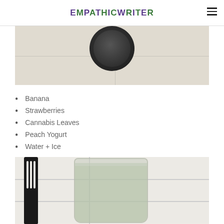EMPATHICWRITER
[Figure (photo): Top-down view of a blender lid on a white tiled kitchen surface]
Banana
Strawberries
Cannabis Leaves
Peach Yogurt
Water + Ice
[Figure (photo): A glass filled with a green-white smoothie on a white tiled kitchen counter with a black spatula visible to the left]